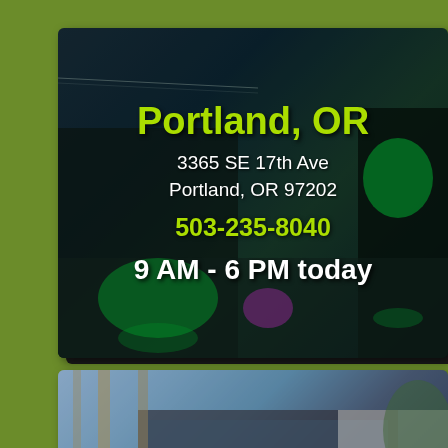[Figure (photo): Nighttime photo of a commercial building in Portland, OR with green lighting accents, wet pavement reflecting light, overhead utility lines visible]
Portland, OR
3365 SE 17th Ave
Portland, OR 97202
503-235-8040
9 AM - 6 PM today
[Figure (photo): Daytime photo of a modern commercial building in Temecula with palm trees and clear blue sky]
Temecula
26201 Ynez Rd, #102